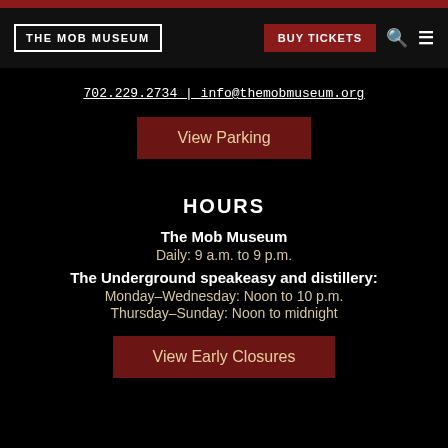THE MOB MUSEUM | BUY TICKETS
702.229.2734 | info@themobmuseum.org
View Parking
HOURS
The Mob Museum
Daily: 9 a.m. to 9 p.m.
The Underground speakeasy and distillery:
Monday–Wednesday: Noon to 10 p.m.
Thursday–Sunday: Noon to midnight
View Early Closures